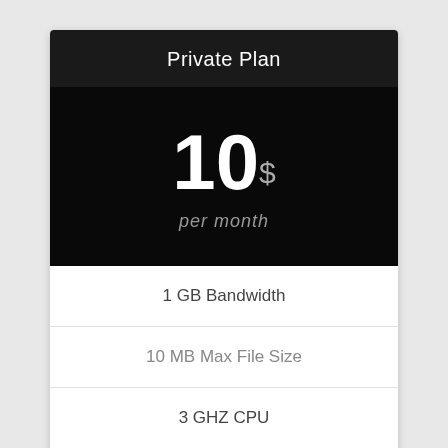Private Plan
10$ per month
1 GB Bandwidth
10 MB Max File Size
3 GHZ CPU
256 MB Memory
♥ Get Private Plan